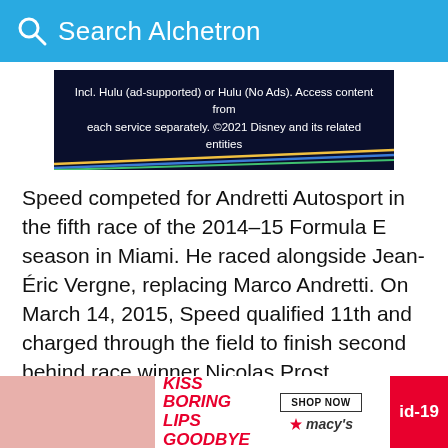Search Alchetron
[Figure (screenshot): Advertisement banner with dark navy background. Text reads: 'Incl. Hulu (ad-supported) or Hulu (No Ads). Access content from each service separately. ©2021 Disney and its related entities'. Colored diagonal lines (yellow, blue, green) near the bottom.]
Speed competed for Andretti Autosport in the fifth race of the 2014–15 Formula E season in Miami. He raced alongside Jean-Éric Vergne, replacing Marco Andretti. On March 14, 2015, Speed qualified 11th and charged through the field to finish second behind race winner Nicolas Prost.
Career summary
† Ineligible for championship points.
‡ Inclu…
[Figure (screenshot): Bottom advertisement overlay for Macy's: 'KISS BORING LIPS GOODBYE' with a woman, SHOP NOW button, Macy's star logo, and red 'id-19' badge on right.]